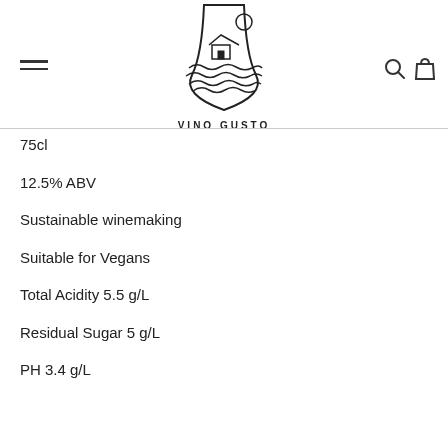VINO GUSTO
75cl
12.5% ABV
Sustainable winemaking
Suitable for Vegans
Total Acidity 5.5 g/L
Residual Sugar 5 g/L
PH 3.4 g/L